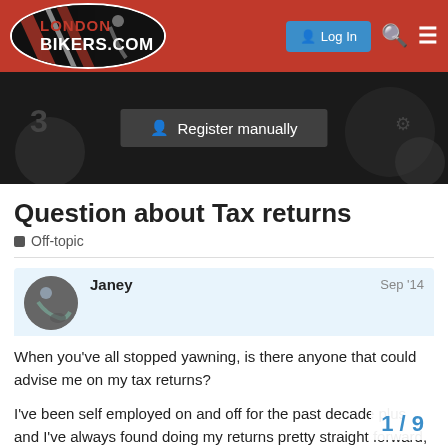LONDONBIKERS.COM — Log In
[Figure (screenshot): Hero banner with dark background showing motorcycle-themed imagery and a 'Register manually' button overlay]
Question about Tax returns
Off-topic
Janey — Sep '14
When you've all stopped yawning, is there anyone that could advise me on my tax returns?

I've been self employed on and off for the past decade plus and I've always found doing my returns pretty straight forward, even with a mix of earning sources. However, I've been PAYE as my sole source of income si and I have officially declared that I've stop
1 / 9